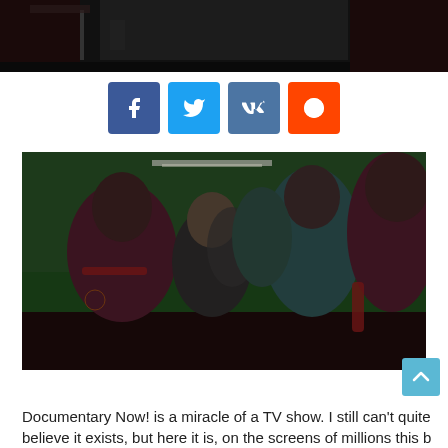[Figure (photo): Top partial photo strip showing a dark bar/pub scene, cropped at top of page]
[Figure (infographic): Social sharing buttons: Facebook (blue), Twitter (light blue), VK (purple-blue), Reddit (orange)]
[Figure (photo): Group of West Ham fans in maroon/claret and blue shirts singing and celebrating in a pub with green walls]
[Figure (other): Light blue scroll-to-top arrow button]
Documentary Now! is a miracle of a TV show. I still can't quite believe it exists, but here it is, on the screens of millions this b...